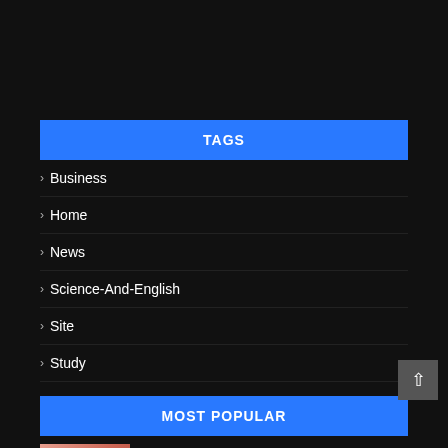TAGS
> Business
> Home
> News
> Science-And-English
> Site
> Study
MOST POPULAR
Hard Work Quotes || English Quotes || Study || Success Motivation || #studytips